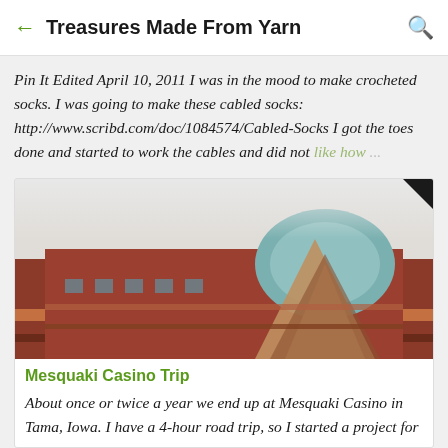Treasures Made From Yarn
Pin It Edited April 10, 2011 I was in the mood to make crocheted socks. I was going to make these cabled socks: http://www.scribd.com/doc/1084574/Cabled-Socks I got the toes done and started to work the cables and did not like how ...
[Figure (photo): Photo of Mesquaki Casino building exterior showing brick facade with geometric design and teal accent]
Mesquaki Casino Trip
About once or twice a year we end up at Mesquaki Casino in Tama, Iowa. I have a 4-hour road trip, so I started a project for